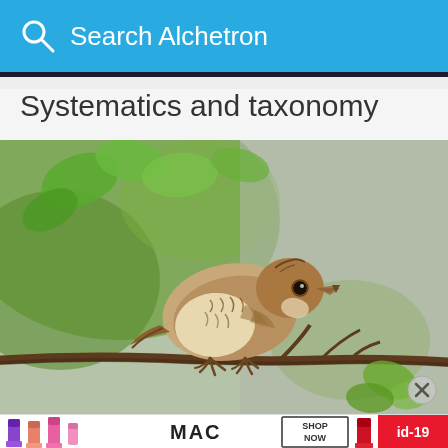Search Alchetron
Systematics and taxonomy
[Figure (photo): A small brown streaked bird (finch/sparrow type) perched on a thin branch with green leaves in background, photographed in natural setting]
[Figure (photo): MAC cosmetics advertisement banner showing lipsticks in purple, coral, pink colors with MAC logo, SHOP NOW text, and red lipstick. Contains id-19 label in red box.]